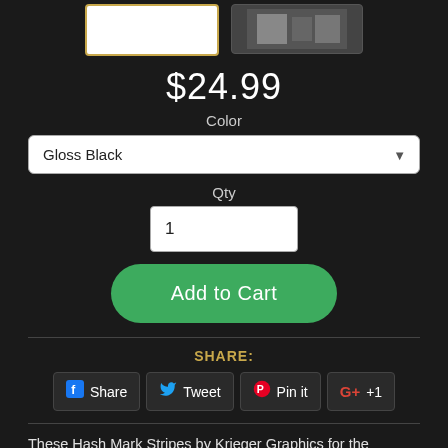[Figure (photo): Two product thumbnail images at top - first with gold border selected (white background), second showing product packaging]
$24.99
Color
Gloss Black
Qty
1
Add to Cart
SHARE:
Share  Tweet  Pin it  +1
These Hash Mark Stripes by Krieger Graphics for the Porsche 718 and 911 are made with 3M Scotchcal 50 vinyl. Included in